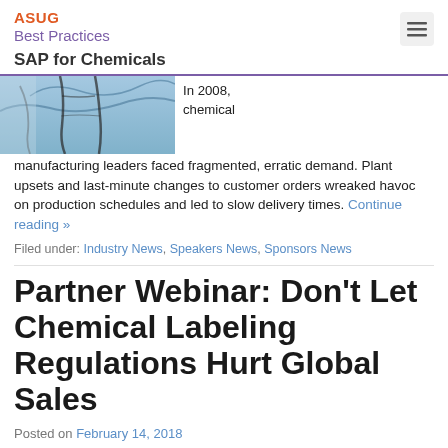ASUG Best Practices
SAP for Chemicals
[Figure (photo): Aerial or overhead photo with cracked patterns on a blue-grey surface, possibly frozen ground or cracked earth viewed from above.]
In 2008, chemical manufacturing leaders faced fragmented, erratic demand. Plant upsets and last-minute changes to customer orders wreaked havoc on production schedules and led to slow delivery times. Continue reading »
Filed under: Industry News, Speakers News, Sponsors News
Partner Webinar: Don't Let Chemical Labeling Regulations Hurt Global Sales
Posted on February 14, 2018